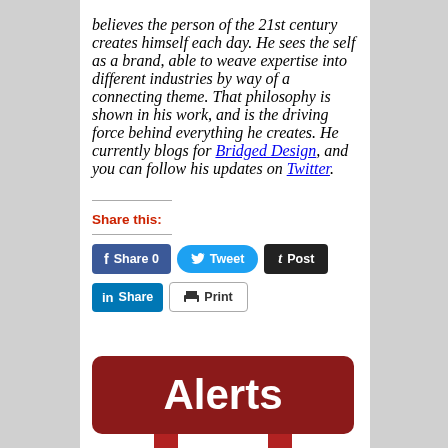believes the person of the 21st century creates himself each day. He sees the self as a brand, able to weave expertise into different industries by way of a connecting theme. That philosophy is shown in his work, and is the driving force behind everything he creates. He currently blogs for Bridged Design, and you can follow his updates on Twitter.
Share this:
[Figure (infographic): Social sharing buttons: Facebook Share 0, Tweet, Post (Tumblr), LinkedIn Share, Print]
[Figure (infographic): Dark red Alerts banner with downward arrow below]